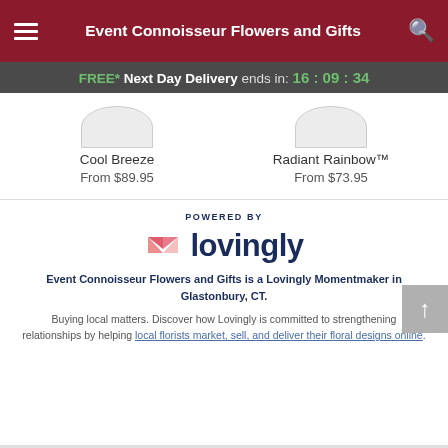Event Connoisseur Flowers and Gifts
FREE* Next Day Delivery ends in: 16:09:34
Cool Breeze
From $89.95
Radiant Rainbow™
From $73.95
[Figure (logo): Lovingly logo with pink heart/envelope icon and dark navy text reading 'lovingly', above text 'POWERED BY']
Event Connoisseur Flowers and Gifts is a Lovingly Momentmaker in Glastonbury, CT.
Buying local matters. Discover how Lovingly is committed to strengthening relationships by helping local florists market, sell, and deliver their floral designs online.